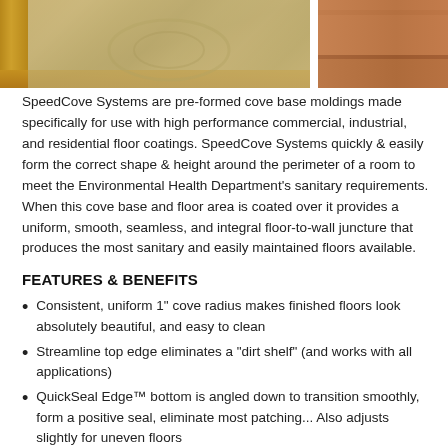[Figure (photo): Two side-by-side photos showing floor cove base molding applications. Left photo shows a decorated floor with cove base visible at the edge, with a wooden frame border. Right photo shows a close-up of a reddish-brown cove base and floor junction.]
SpeedCove Systems are pre-formed cove base moldings made specifically for use with high performance commercial, industrial, and residential floor coatings. SpeedCove Systems quickly & easily form the correct shape & height around the perimeter of a room to meet the Environmental Health Department's sanitary requirements. When this cove base and floor area is coated over it provides a uniform, smooth, seamless, and integral floor-to-wall juncture that produces the most sanitary and easily maintained floors available.
FEATURES & BENEFITS
Consistent, uniform 1" cove radius makes finished floors look absolutely beautiful, and easy to clean
Streamline top edge eliminates a "dirt shelf" (and works with all applications)
QuickSeal Edge™ bottom is angled down to transition smoothly, form a positive seal, eliminate most patching... Also adjusts slightly for uneven floors
The polymer composite provides a "monolithic" integration w/ all around the number of floor coatings